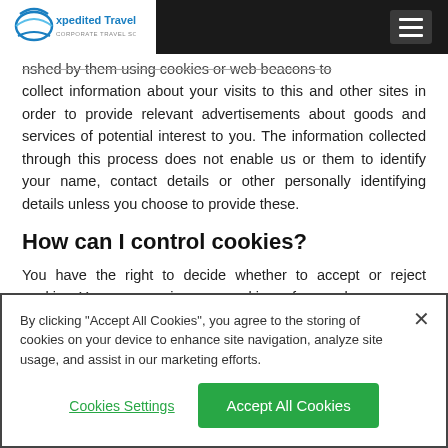[Figure (logo): Expedited Travel Corporate Travel Solutions logo with arc graphic]
nshed by them using cookies or web beacons to collect information about your visits to this and other sites in order to provide relevant advertisements about goods and services of potential interest to you. The information collected through this process does not enable us or them to identify your name, contact details or other personally identifying details unless you choose to provide these.
How can I control cookies?
You have the right to decide whether to accept or reject cookies. You can exercise your cookie preference by
By clicking "Accept All Cookies", you agree to the storing of cookies on your device to enhance site navigation, analyze site usage, and assist in our marketing efforts.
Cookies Settings
Accept All Cookies